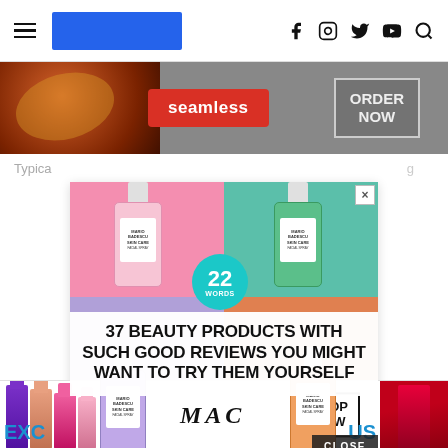Navigation bar with hamburger menu, blue logo rectangle, and social icons (Facebook, Instagram, Twitter, YouTube, Search)
[Figure (photo): Seamless food delivery advertisement banner showing pizza and ORDER NOW button]
Typica... ...g
[Figure (photo): 22 Words advertisement featuring Mario Badescu beauty products on colorful backgrounds with text: 37 BEAUTY PRODUCTS WITH SUCH GOOD REVIEWS YOU MIGHT WANT TO TRY THEM YOURSELF. Includes CLOSE button.]
[Figure (photo): MAC cosmetics advertisement showing lipsticks, MAC logo, SHOP NOW button and red lipstick. Partial text EXC... ...US visible.]